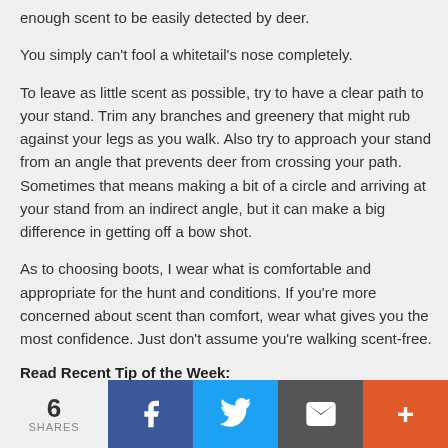enough scent to be easily detected by deer.
You simply can't fool a whitetail's nose completely.
To leave as little scent as possible, try to have a clear path to your stand. Trim any branches and greenery that might rub against your legs as you walk. Also try to approach your stand from an angle that prevents deer from crossing your path. Sometimes that means making a bit of a circle and arriving at your stand from an indirect angle, but it can make a big difference in getting off a bow shot.
As to choosing boots, I wear what is comfortable and appropriate for the hunt and conditions. If you're more concerned about scent than comfort, wear what gives you the most confidence. Just don't assume you're walking scent-free.
Read Recent Tip of the Week:
• Plan B: Have backup plans in place for essential gear.
6 SHARES | Facebook | Twitter | Email | More